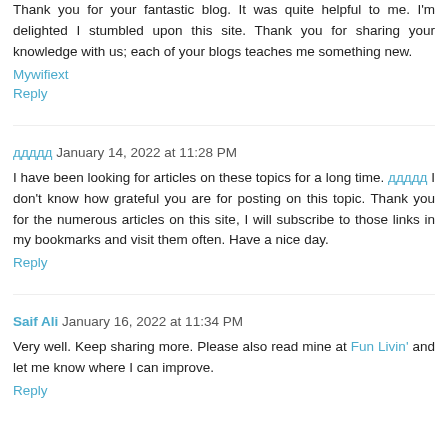Thank you for your fantastic blog. It was quite helpful to me. I'm delighted I stumbled upon this site. Thank you for sharing your knowledge with us; each of your blogs teaches me something new.
Mywifiext
Reply
ддддд January 14, 2022 at 11:28 PM
I have been looking for articles on these topics for a long time. ддддд I don't know how grateful you are for posting on this topic. Thank you for the numerous articles on this site, I will subscribe to those links in my bookmarks and visit them often. Have a nice day.
Reply
Saif Ali January 16, 2022 at 11:34 PM
Very well. Keep sharing more. Please also read mine at Fun Livin' and let me know where I can improve.
Reply